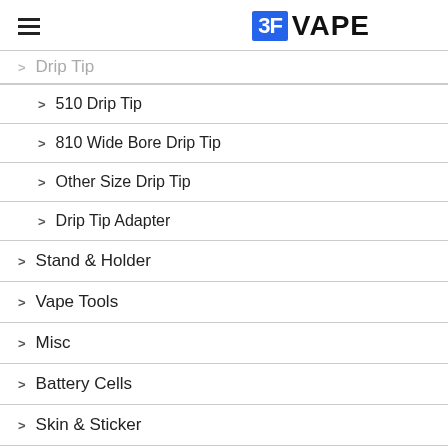[Figure (logo): 3F VAPE logo with blue square containing '3F' and bold black 'VAPE' text]
Drip Tip (partial, greyed out)
> 510 Drip Tip
> 810 Wide Bore Drip Tip
> Other Size Drip Tip
> Drip Tip Adapter
> Stand & Holder
> Vape Tools
> Misc
> Battery Cells
> Skin & Sticker
> Weed
> Pipe & Vaporizer